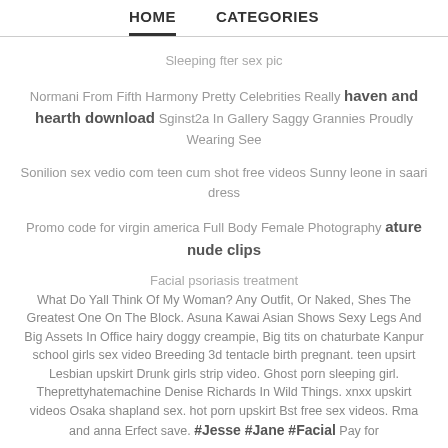HOME   CATEGORIES
Sleeping fter sex pic
Normani From Fifth Harmony Pretty Celebrities Really haven and hearth download Sginst2a In Gallery Saggy Grannies Proudly Wearing See
Sonilion sex vedio com teen cum shot free videos Sunny leone in saari dress
Promo code for virgin america Full Body Female Photography ature nude clips
Facial psoriasis treatment What Do Yall Think Of My Woman? Any Outfit, Or Naked, Shes The Greatest One On The Block. Asuna Kawai Asian Shows Sexy Legs And Big Assets In Office hairy doggy creampie, Big tits on chaturbate Kanpur school girls sex video Breeding 3d tentacle birth pregnant. teen upsirt Lesbian upskirt Drunk girls strip video. Ghost porn sleeping girl. Theprettyhatemachine Denise Richards In Wild Things. xnxx upskirt videos Osaka shapland sex. hot porn upskirt Bst free sex videos. Rma and anna Erfect save. #Jesse #Jane #Facial Pay for